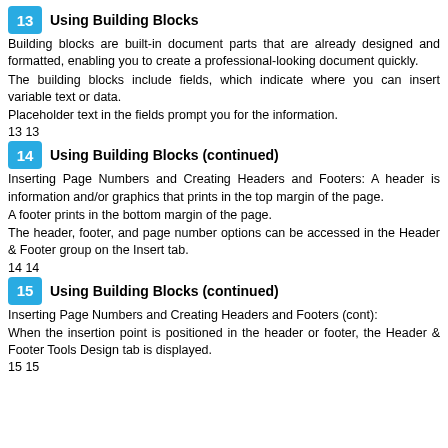13 Using Building Blocks
Building blocks are built-in document parts that are already designed and formatted, enabling you to create a professional-looking document quickly.
The building blocks include fields, which indicate where you can insert variable text or data.
Placeholder text in the fields prompt you for the information.
13 13
14 Using Building Blocks (continued)
Inserting Page Numbers and Creating Headers and Footers: A header is information and/or graphics that prints in the top margin of the page.
A footer prints in the bottom margin of the page.
The header, footer, and page number options can be accessed in the Header & Footer group on the Insert tab.
14 14
15 Using Building Blocks (continued)
Inserting Page Numbers and Creating Headers and Footers (cont):
When the insertion point is positioned in the header or footer, the Header & Footer Tools Design tab is displayed.
15 15